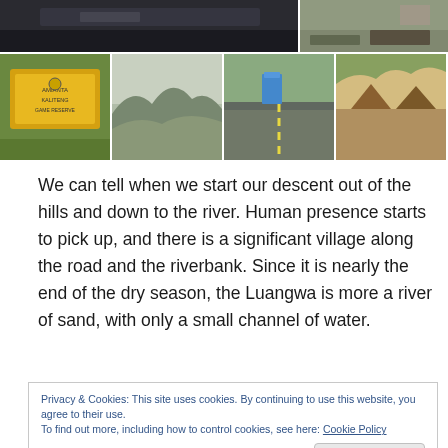[Figure (photo): Top row: dashboard/car interior view (left), roadside photo (right)]
[Figure (photo): Bottom row of four photos: yellow sign, hilly landscape, road with bus, village huts]
We can tell when we start our descent out of the hills and down to the river. Human presence starts to pick up, and there is a significant village along the road and the riverbank. Since it is nearly the end of the dry season, the Luangwa is more a river of sand, with only a small channel of water.
Privacy & Cookies: This site uses cookies. By continuing to use this website, you agree to their use.
To find out more, including how to control cookies, see here: Cookie Policy
Close and accept
our first day on the road – had we not closed the door